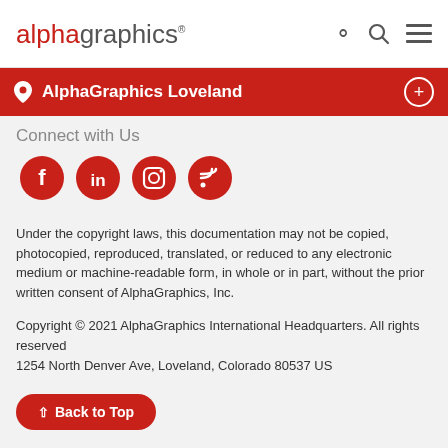alphagraphics®
AlphaGraphics Loveland
Connect with Us
[Figure (other): Social media icons row: Facebook, LinkedIn, Instagram, RSS Feed — red circles with white icons]
Under the copyright laws, this documentation may not be copied, photocopied, reproduced, translated, or reduced to any electronic medium or machine-readable form, in whole or in part, without the prior written consent of AlphaGraphics, Inc.
Copyright © 2021 AlphaGraphics International Headquarters. All rights reserved
1254 North Denver Ave, Loveland, Colorado 80537 US
Back to Top